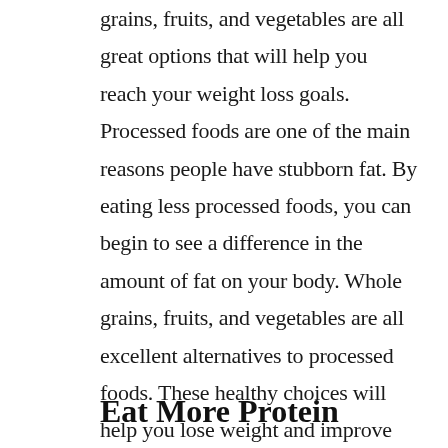grains, fruits, and vegetables are all great options that will help you reach your weight loss goals. Processed foods are one of the main reasons people have stubborn fat. By eating less processed foods, you can begin to see a difference in the amount of fat on your body. Whole grains, fruits, and vegetables are all excellent alternatives to processed foods. These healthy choices will help you lose weight and improve your overall health. So if you're looking to get rid of stubborn fat, ditching processed foods is a great place to start!
Eat More Protein